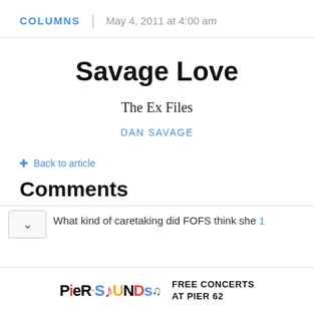COLUMNS | May 4, 2011 at 4:00 am
Savage Love
The Ex Files
DAN SAVAGE
← Back to article
Comments
What kind of caretaking did FOFS think she...
[Figure (other): Pier Sounds advertisement banner — colorful logo with text FREE CONCERTS AT PIER 62]